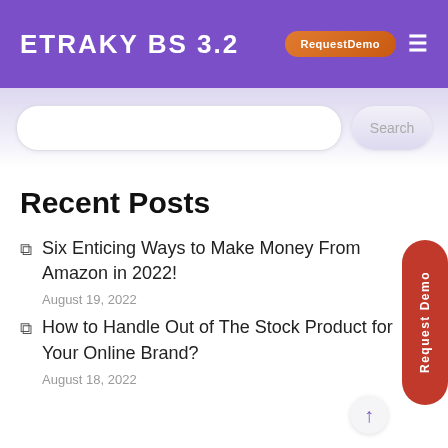ETRAKY BS 3.2  RequestDemo ≡
[Figure (screenshot): Search input bar with rounded rectangle and Search button]
Recent Posts
Six Enticing Ways to Make Money From Amazon in 2022!
August 19, 2022
How to Handle Out of The Stock Product for Your Online Brand?
August 18, 2022